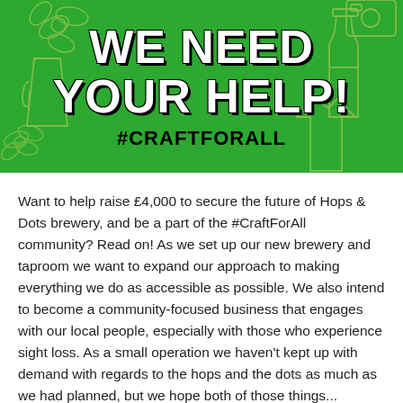[Figure (infographic): Green banner with bold white text 'WE NEED YOUR HELP!' and black hashtag '#CRAFTFORALL', with decorative outline illustrations of beer-related items (pint glass, hop, bottle, t-shirt) in yellow-green on the green background.]
Want to help raise £4,000 to secure the future of Hops & Dots brewery, and be a part of the #CraftForAll community? Read on! As we set up our new brewery and taproom we want to expand our approach to making everything we do as accessible as possible. We also intend to become a community-focused business that engages with our local people, especially with those who experience sight loss. As a small operation we haven't kept up with demand with regards to the hops and the dots as much as we had planned, but we hope both of those things...
Read more